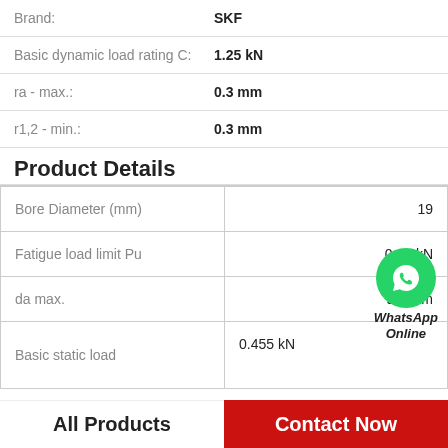| Property | Value |
| --- | --- |
| Brand: | SKF |
| Basic dynamic load rating C: | 1.25 kN |
| ra - max.: | 0.3 mm |
| r1,2 - min.: | 0.3 mm |
Product Details
| Property | Value |
| --- | --- |
| Bore Diameter (mm) | 19 |
| Fatigue load limit Pu | 0.02 kN |
| da max. | 9.7 mm |
| Basic static load | 0.455 kN |
WhatsApp Online
All Products   Contact Now